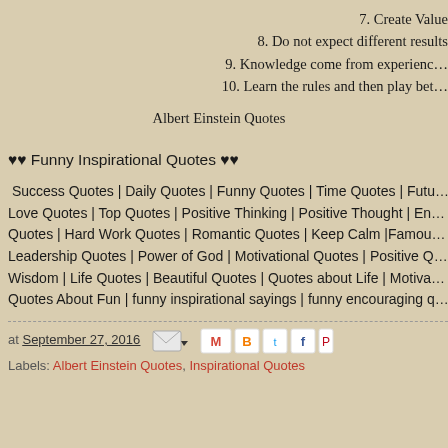7. Create Value
8. Do not expect different results
9. Knowledge come from experienc...
10. Learn the rules and then play bet...
Albert Einstein Quotes
♥♥ Funny Inspirational Quotes ♥♥
Success Quotes | Daily Quotes | Funny Quotes | Time Quotes | Futu... Love Quotes | Top Quotes | Positive Thinking | Positive Thought | En... Quotes | Hard Work Quotes | Romantic Quotes | Keep Calm |Famou... Leadership Quotes | Power of God | Motivational Quotes | Positive Q... Wisdom | Life Quotes | Beautiful Quotes | Quotes about Life | Motiva... Quotes About Fun | funny inspirational sayings | funny encouraging q...
at September 27, 2016  Labels: Albert Einstein Quotes, Inspirational Quotes